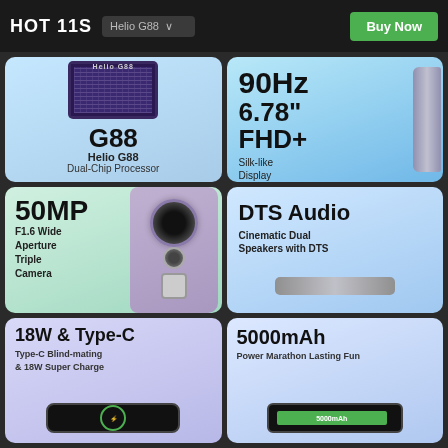HOT 11S | Buy Now
[Figure (infographic): Helio G88 Dual-Chip Processor chip image with G88 label]
[Figure (infographic): 90Hz 6.78 FHD+ Silk-like Display phone screen]
[Figure (infographic): 50MP F1.6 Wide Aperture Triple Camera phone back]
[Figure (infographic): DTS Audio Cinematic Dual Speakers with DTS phone edge]
[Figure (infographic): 18W & Type-C Type-C Blind-mating & 18W Super Charge phone bottom]
[Figure (infographic): 5000mAh Power Marathon Lasting Fun phone with battery]